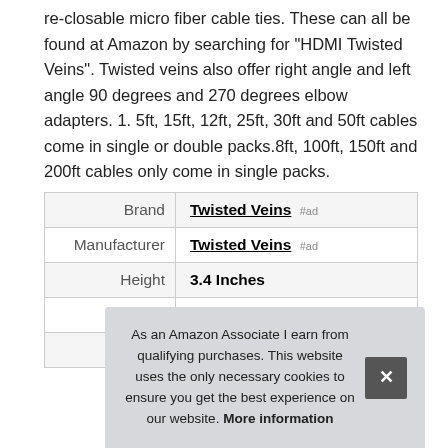re-closable micro fiber cable ties. These can all be found at Amazon by searching for "HDMI Twisted Veins". Twisted veins also offer right angle and left angle 90 degrees and 270 degrees elbow adapters. 1. 5ft, 15ft, 12ft, 25ft, 30ft and 50ft cables come in single or double packs.8ft, 100ft, 150ft and 200ft cables only come in single packs.
|  |  |
| --- | --- |
| Brand | Twisted Veins #ad |
| Manufacturer | Twisted Veins #ad |
| Height | 3.4 Inches |
| Length | 8.5 Inches |
| P |  |
As an Amazon Associate I earn from qualifying purchases. This website uses the only necessary cookies to ensure you get the best experience on our website. More information